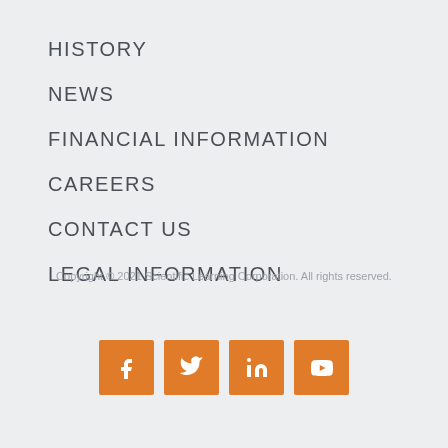HISTORY
NEWS
FINANCIAL INFORMATION
CAREERS
CONTACT US
LEGAL INFORMATION
Copyright © 2021 Scientific Learning Corporation. All rights reserved.
[Figure (infographic): Four orange square social media icons: Facebook, Twitter, LinkedIn, YouTube]